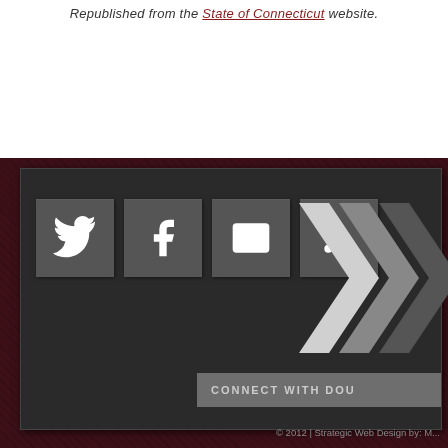Republished from the State of Connecticut website.
[Figure (infographic): Social media icons bar with Twitter, Facebook, Email, and RSS icons in grey square buttons, followed by chevron arrows graphic and 'CONNECT WITH DOU...' text bar on dark background]
© 2012 | Strategic Web Design by: M...